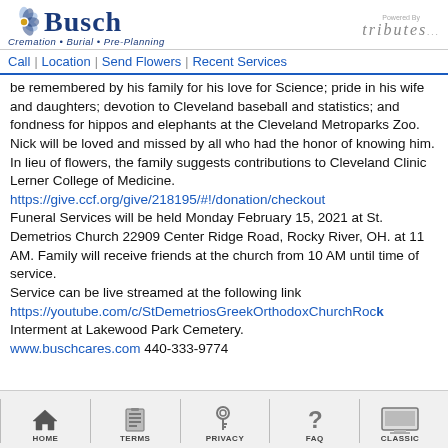[Figure (logo): Busch Cremation Burial Pre-Planning logo with flower icon on the left, and 'Powered By tributes' logo on the right]
Call | Location | Send Flowers | Recent Services
be remembered by his family for his love for Science; pride in his wife and daughters; devotion to Cleveland baseball and statistics; and fondness for hippos and elephants at the Cleveland Metroparks Zoo. Nick will be loved and missed by all who had the honor of knowing him.
In lieu of flowers, the family suggests contributions to Cleveland Clinic Lerner College of Medicine.
https://give.ccf.org/give/218195/#!/donation/checkout
Funeral Services will be held Monday February 15, 2021 at St. Demetrios Church 22909 Center Ridge Road, Rocky River, OH. at 11 AM. Family will receive friends at the church from 10 AM until time of service.
Service can be live streamed at the following link
https://youtube.com/c/StDemetriosGreekOrthodoxChurchRock
Interment at Lakewood Park Cemetery.
www.buschcares.com 440-333-9774
HOME | TERMS | PRIVACY | FAQ | CLASSIC